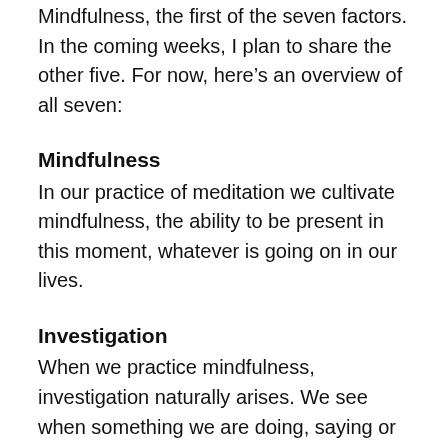Mindfulness, the first of the seven factors. In the coming weeks, I plan to share the other five. For now, here’s an overview of all seven:
Mindfulness
In our practice of meditation we cultivate mindfulness, the ability to be present in this moment, whatever is going on in our lives.
Investigation
When we practice mindfulness, investigation naturally arises. We see when something we are doing, saying or thinking is unskillful, causing harm to ourselves and others. We can use the questions we’ve been discussing over the past months, like ‘What is my intention here?’ and ‘What am I afraid of?’ to explore what’s really